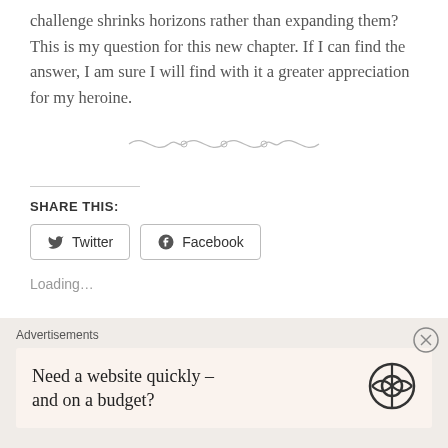challenge shrinks horizons rather than expanding them? This is my question for this new chapter. If I can find the answer, I am sure I will find with it a greater appreciation for my heroine.
[Figure (illustration): Decorative swirling line divider ornament in light gray]
SHARE THIS:
Twitter  Facebook
Loading...
Advertisements
Need a website quickly – and on a budget?